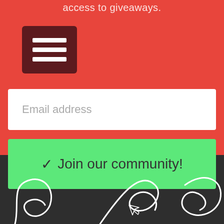access to giveaways.
[Figure (other): Hamburger menu icon — three white horizontal bars on a dark red/maroon square background]
Email address
✓ Join our community!
[Figure (illustration): White line-art signature/handwriting style illustration on dark background, showing cursive letter shapes]